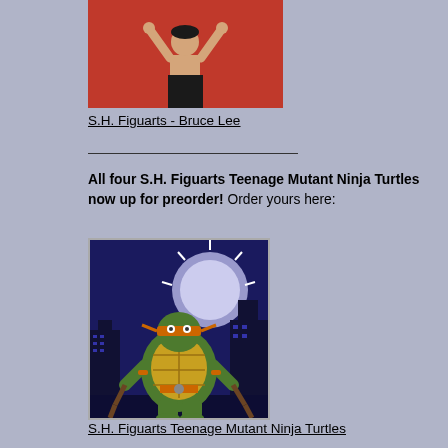[Figure (photo): Action figure of Bruce Lee shirtless in black pants, posed with arms raised, against a red background]
S.H. Figuarts - Bruce Lee
All four S.H. Figuarts Teenage Mutant Ninja Turtles now up for preorder! Order yours here:
[Figure (photo): S.H. Figuarts Teenage Mutant Ninja Turtle action figure (Michelangelo) with nunchucks, standing in front of a city skyline at night with a large moon]
S.H. Figuarts Teenage Mutant Ninja Turtles
Introducing the latest TMNT release from First Gokin,